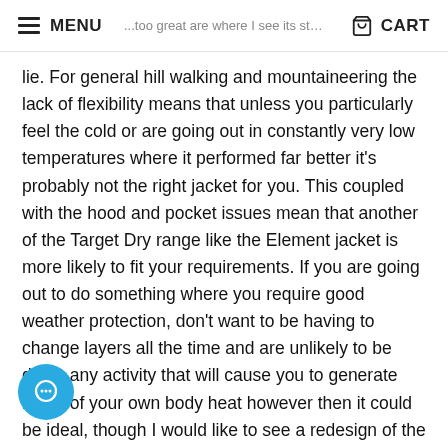MENU | ...too great are where I see its strengths... | CART
lie. For general hill walking and mountaineering the lack of flexibility means that unless you particularly feel the cold or are going out in constantly very low temperatures where it performed far better it's probably not the right jacket for you. This coupled with the hood and pocket issues mean that another of the Target Dry range like the Element jacket is more likely to fit your requirements. If you are going out to do something where you require good weather protection, don't want to be having to change layers all the time and are unlikely to be doing any activity that will cause you to generate much of your own body heat however then it could be ideal, though I would like to see a redesign of the hood...